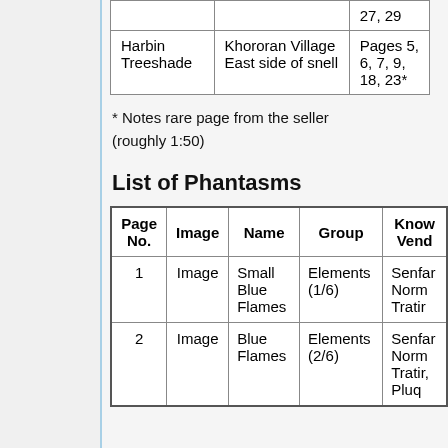|  |  |  |  |
| --- | --- | --- | --- |
|  |  | 27, 29 |
| Harbin Treeshade | Khororan Village East side of snell | Pages 5, 6, 7, 9, 18, 23* |
* Notes rare page from the seller (roughly 1:50)
List of Phantasms
| Page No. | Image | Name | Group | Known Vendor |
| --- | --- | --- | --- | --- |
| 1 | Image | Small Blue Flames | Elements (1/6) | Senfar Norm Tratir |
| 2 | Image | Blue Flames | Elements (2/6) | Senfar Norm Tratir, Pluq |